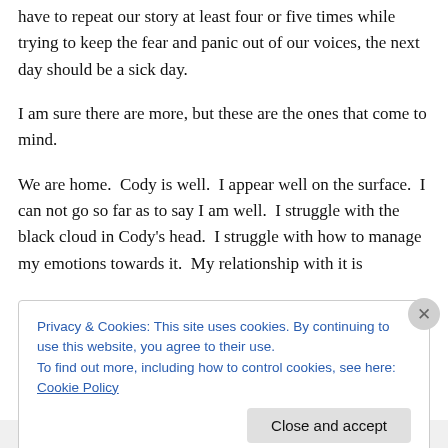have to repeat our story at least four or five times while trying to keep the fear and panic out of our voices, the next day should be a sick day.
I am sure there are more, but these are the ones that come to mind.
We are home.  Cody is well.  I appear well on the surface.  I can not go so far as to say I am well.  I struggle with the black cloud in Cody's head.  I struggle with how to manage my emotions towards it.  My relationship with it is
Privacy & Cookies: This site uses cookies. By continuing to use this website, you agree to their use.
To find out more, including how to control cookies, see here: Cookie Policy